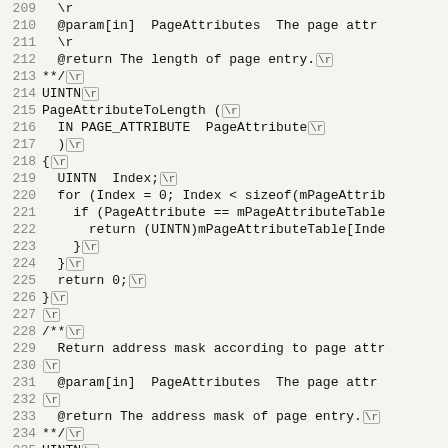[Figure (screenshot): Source code listing showing C/C++ function definitions with line numbers 209-241, including PageAttributeToLength and PageAttributeToMask functions with Doxygen-style comments.]